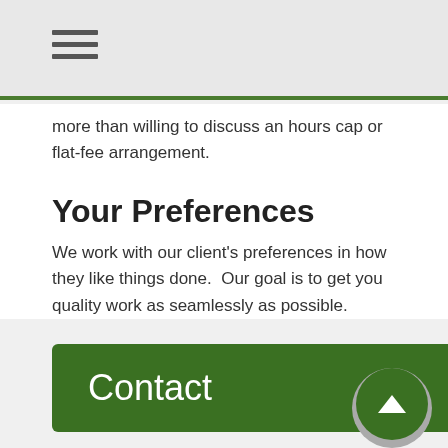more than willing to discuss an hours cap or flat-fee arrangement.
Your Preferences
We work with our client's preferences in how they like things done.  Our goal is to get you quality work as seamlessly as possible.
Contact